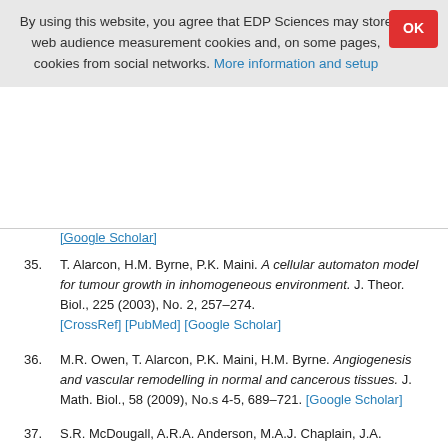By using this website, you agree that EDP Sciences may store web audience measurement cookies and, on some pages, cookies from social networks. More information and setup
35. T. Alarcon, H.M. Byrne, P.K. Maini. A cellular automaton model for tumour growth in inhomogeneous environment. J. Theor. Biol., 225 (2003), No. 2, 257–274. [CrossRef] [PubMed] [Google Scholar]
36. M.R. Owen, T. Alarcon, P.K. Maini, H.M. Byrne. Angiogenesis and vascular remodelling in normal and cancerous tissues. J. Math. Biol., 58 (2009), No.s 4-5, 689–721. [Google Scholar]
37. S.R. McDougall, A.R.A. Anderson, M.A.J. Chaplain, J.A. Sherratt. Mathematical modelling of flow through vascular networks: implications for tumour-induced angiogenesis and chemotherapy strategies. Bull. Math. Biol., 64 (2002), No. 4, 673–702. [CrossRef] [PubMed]